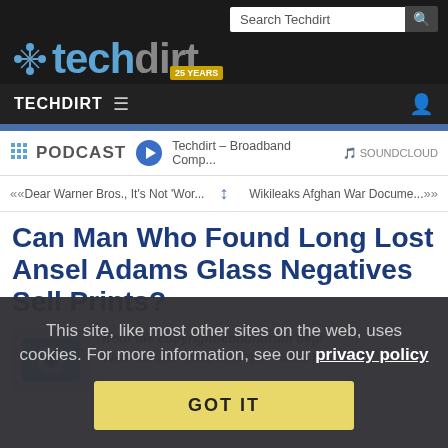Techdirt
PODCAST | Techdirt – Broadband Comp... | SOUNDCLOUD
« Dear Warner Bros., It's Not 'Wor... | Wikileaks Afghan War Docume... »
Can Man Who Found Long Lost Ansel Adams Glass Negatives Sell Prints?
from the copyright-conundrum dept
Wed, Jul 28th 2010 02:32pm - Mike Masnick
This site, like most other sites on the web, uses cookies. For more information, see our privacy policy
GOT IT